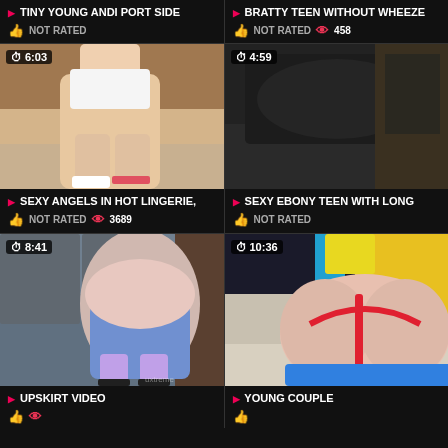TINY YOUNG ANDI PORT SIDE | NOT RATED
BRATTY TEEN WITHOUT WHEEZE | NOT RATED | 458
[Figure (photo): Video thumbnail showing woman in white top and shorts, duration 6:03]
[Figure (photo): Video thumbnail showing dark fabric close-up, duration 4:59]
SEXY ANGELS IN HOT LINGERIE, | NOT RATED | 3689
SEXY EBONY TEEN WITH LONG | NOT RATED
[Figure (photo): Video thumbnail showing person in blue leggings bending over, duration 8:41]
[Figure (photo): Video thumbnail showing blonde in red swimsuit, duration 10:36]
UPSKIRT VIDEO
YOUNG COUPLE